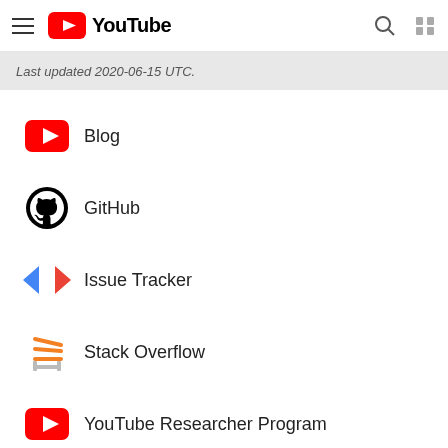YouTube
Last updated 2020-06-15 UTC.
Blog
GitHub
Issue Tracker
Stack Overflow
YouTube Researcher Program
Tools
Google APIs Explorer
YouTube Player Demo